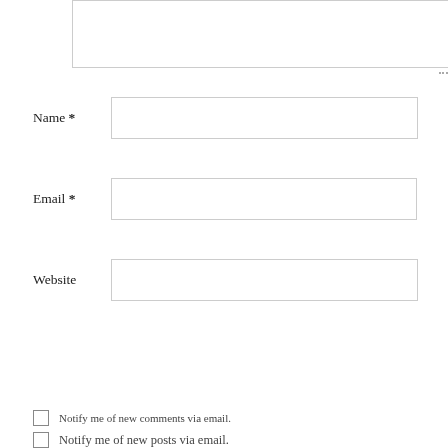[Figure (screenshot): Comment form textarea (top portion visible, partially cut off at top)]
Name *
[Figure (screenshot): Name input text field]
Email *
[Figure (screenshot): Email input text field]
Website
[Figure (screenshot): Website input text field]
[Figure (screenshot): POST COMMENT button (red background, white uppercase text)]
Notify me of new comments via email.
Notify me of new posts via email.